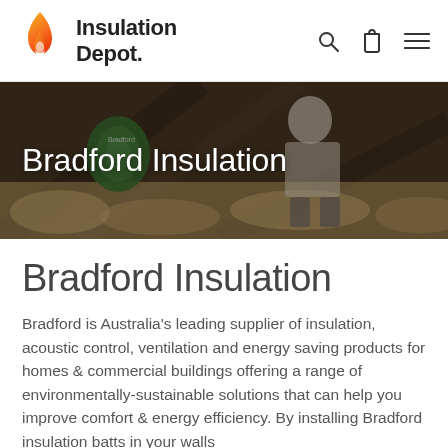Insulation Depot.
[Figure (photo): Hero banner showing a worker installing insulation batts in a roof/attic space, with a green Bradford insulation roll visible. Overlay text reads 'Bradford Insulation'.]
Bradford Insulation
Bradford is Australia's leading supplier of insulation, acoustic control, ventilation and energy saving products for homes & commercial buildings offering a range of environmentally-sustainable solutions that can help you improve comfort & energy efficiency. By installing Bradford insulation batts in your walls